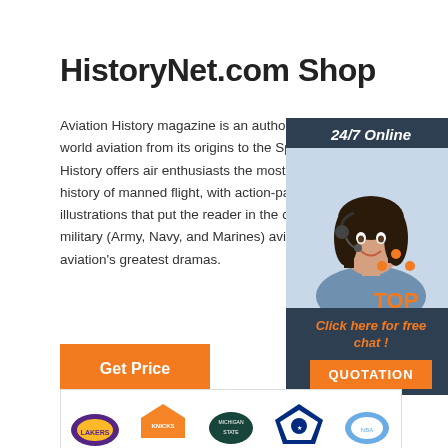HistoryNet.com Shop
Aviation History magazine is an authoritative, in-depth history of world aviation from its origins to the Space Age. Aviation History offers air enthusiasts the most detailed coverage of the history of manned flight, with action-packed stories and illustrations that put the reader in the cockpit with pilots and military (Army, Navy, and Marines) aviators to experience aviation's greatest dramas.
[Figure (other): Orange 'Get Price' button]
[Figure (other): 24/7 Online chat widget with photo of woman with headset, 'Click here for free chat!' text, and orange QUOTATION button]
[Figure (logo): Orange dotted triangle TOP navigation icon]
[Figure (other): Bottom strip showing sports team logos including Lakers, Knicks, Michigan State, and others]